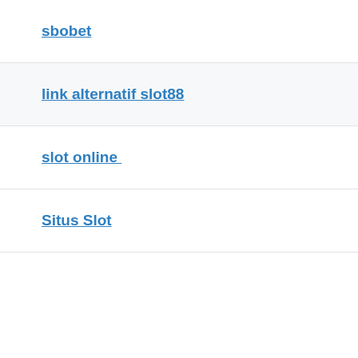sbobet
link alternatif slot88
slot online
Situs Slot